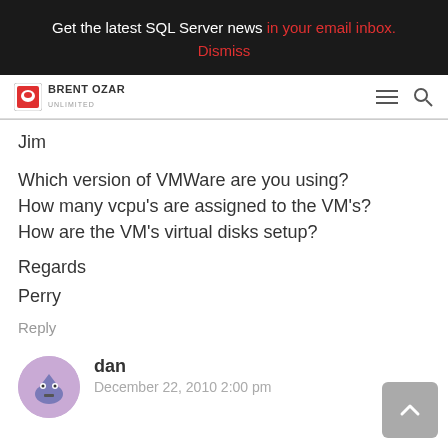Get the latest SQL Server news in your email inbox. Dismiss
[Figure (logo): Brent Ozar Unlimited logo with hamburger menu and search icon]
Jim
Which version of VMWare are you using?
How many vcpu's are assigned to the VM's?
How are the VM's virtual disks setup?
Regards
Perry
Reply
dan
December 22, 2010 2:00 pm